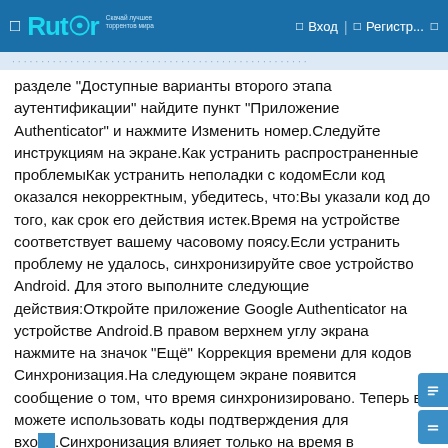Rutor — Вход — Регистр...
разделе "Доступные варианты второго этапа аутентификации" найдите пункт "Приложение Authenticator" и нажмите Изменить номер.Следуйте инструкциям на экране.Как устранить распространенные проблемыКак устранить неполадки с кодомЕсли код оказался некорректным, убедитесь, что:Вы указали код до того, как срок его действия истек.Время на устройстве соответствует вашему часовому поясу.Если устранить проблему не удалось, синхронизируйте свое устройство Android. Для этого выполните следующие действия:Откройте приложение Google Authenticator на устройстве Android.В правом верхнем углу экрана нажмите на значок "Ещё" Коррекция времени для кодов Синхронизация.На следующем экране появится сообщение о том, что время синхронизировано. Теперь вы можете использовать коды подтверждения для входа.Синхронизация влияет только на время в приложении Google Authenticator. Настройки даты и времени на устройстве не изменятся.Как использовать Google Authenticator с несколькими устройствами и аккаунтамиКак